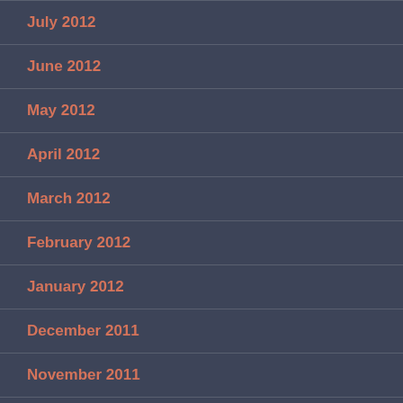July 2012
June 2012
May 2012
April 2012
March 2012
February 2012
January 2012
December 2011
November 2011
October 2011
September 2011